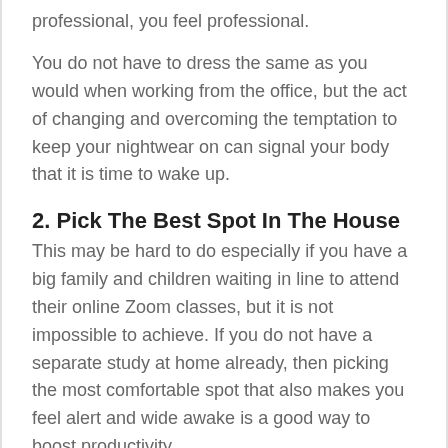professional, you feel professional.
You do not have to dress the same as you would when working from the office, but the act of changing and overcoming the temptation to keep your nightwear on can signal your body that it is time to wake up.
2. Pick The Best Spot In The House
This may be hard to do especially if you have a big family and children waiting in line to attend their online Zoom classes, but it is not impossible to achieve. If you do not have a separate study at home already, then picking the most comfortable spot that also makes you feel alert and wide awake is a good way to boost productivity.
Working on your bed while you are nestled between your comfy pillows and cushions,